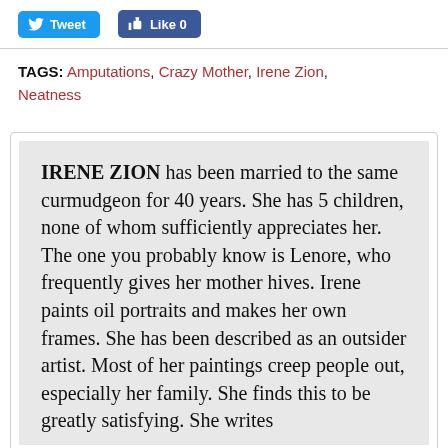[Figure (other): Tweet button (blue bird icon) and Like 0 button (Facebook thumbs up)]
TAGS: Amputations, Crazy Mother, Irene Zion, Neatness
IRENE ZION has been married to the same curmudgeon for 40 years. She has 5 children, none of whom sufficiently appreciates her. The one you probably know is Lenore, who frequently gives her mother hives. Irene paints oil portraits and makes her own frames. She has been described as an outsider artist. Most of her paintings creep people out, especially her family. She finds this to be greatly satisfying. She writes